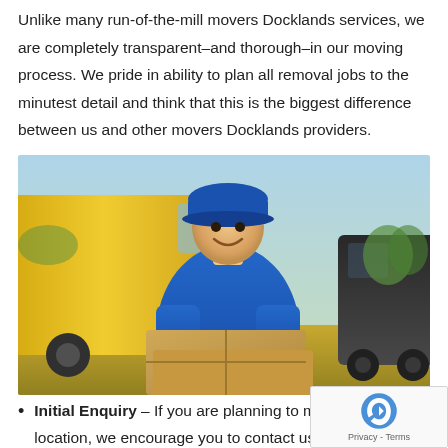Unlike many run-of-the-mill movers Docklands services, we are completely transparent–and thorough–in our moving process. We pride in ability to plan all removal jobs to the minutest detail and think that this is the biggest difference between us and other movers Docklands providers.
[Figure (photo): A smiling delivery man in a blue uniform and cap holding cardboard boxes, standing in front of yellow delivery vans outdoors.]
Initial Enquiry – If you are planning to move to a new location, we encourage you to contact us to make an enquiry. At this stage, we focus on learning as much as